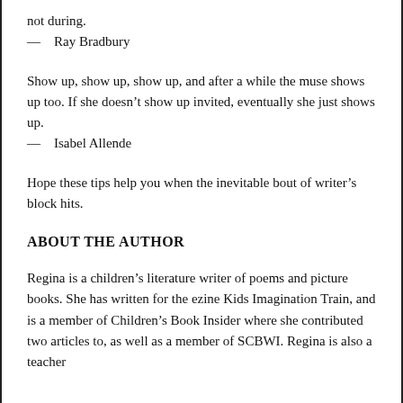not during.
— Ray Bradbury
Show up, show up, show up, and after a while the muse shows up too. If she doesn't show up invited, eventually she just shows up.
— Isabel Allende
Hope these tips help you when the inevitable bout of writer's block hits.
ABOUT THE AUTHOR
Regina is a children's literature writer of poems and picture books. She has written for the ezine Kids Imagination Train, and is a member of Children's Book Insider where she contributed two articles to, as well as a member of SCBWI. Regina is also a teacher